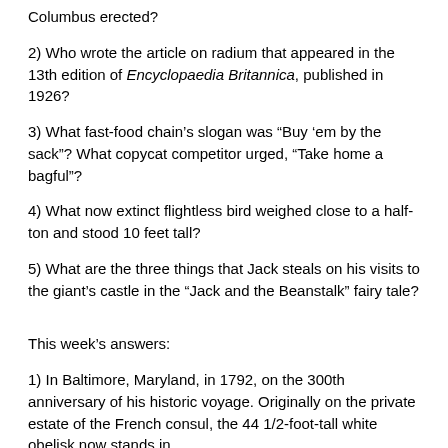Columbus erected?
2) Who wrote the article on radium that appeared in the 13th edition of Encyclopaedia Britannica, published in 1926?
3) What fast-food chain's slogan was “Buy ’em by the sack”? What copycat competitor urged, “Take home a bagful”?
4) What now extinct flightless bird weighed close to a half-ton and stood 10 feet tall?
5) What are the three things that Jack steals on his visits to the giant’s castle in the “Jack and the Beanstalk” fairy tale?
This week’s answers:
1) In Baltimore, Maryland, in 1792, on the 300th anniversary of his historic voyage. Originally on the private estate of the French consul, the 44 1/2-foot-tall white obelisk now stands in